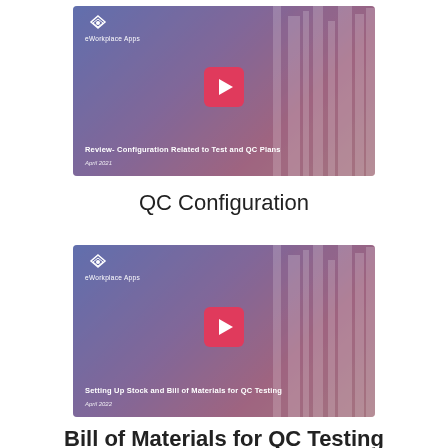[Figure (screenshot): Video thumbnail for 'Review- Configuration Related to Test and QC Plans', April 2021, with eWorkplace Apps logo and red play button, blue-to-pink gradient background with bookshelf imagery.]
QC Configuration
[Figure (screenshot): Video thumbnail for 'Setting Up Stock and Bill of Materials for QC Testing', April 2022, with eWorkplace Apps logo and red play button, blue-to-pink gradient background with bookshelf imagery.]
Bill of Materials for QC Testing